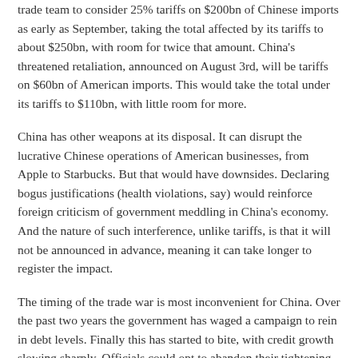trade team to consider 25% tariffs on $200bn of Chinese imports as early as September, taking the total affected by its tariffs to about $250bn, with room for twice that amount. China's threatened retaliation, announced on August 3rd, will be tariffs on $60bn of American imports. This would take the total under its tariffs to $110bn, with little room for more.
China has other weapons at its disposal. It can disrupt the lucrative Chinese operations of American businesses, from Apple to Starbucks. But that would have downsides. Declaring bogus justifications (health violations, say) would reinforce foreign criticism of government meddling in China's economy. And the nature of such interference, unlike tariffs, is that it will not be announced in advance, meaning it can take longer to register the impact.
The timing of the trade war is most inconvenient for China. Over the past two years the government has waged a campaign to rein in debt levels. Finally this has started to bite, with credit growth slowing sharply. Officials could opt to abandon their tightening stance in order to counteract the trade turmoil. But that might erase the gains from the deleveraging. This explains their restraint so far. At a meeting of the Politburo on July 31st, China's leaders noted that it was a priority to support growth amid the